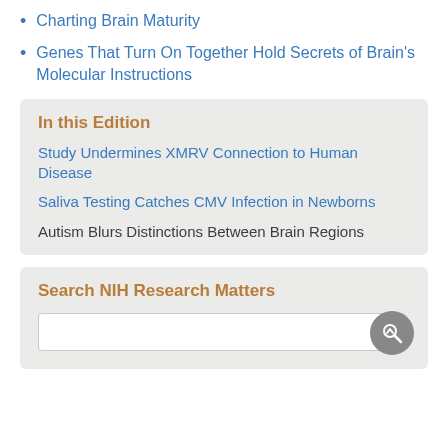Charting Brain Maturity
Genes That Turn On Together Hold Secrets of Brain's Molecular Instructions
In this Edition
Study Undermines XMRV Connection to Human Disease
Saliva Testing Catches CMV Infection in Newborns
Autism Blurs Distinctions Between Brain Regions
Search NIH Research Matters